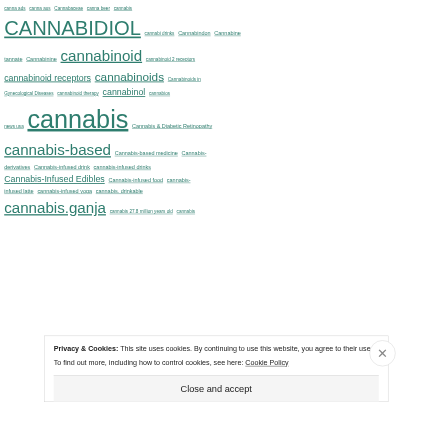canna ads canna aus Cannabaceae canna beer cannabis CANNABIDIOL cannabi drinks Cannabindon Cannabine tannate Cannabinine cannabinoid cannabinoid 2 receptors cannabinoid receptors cannabinoids Cannabinoids in Gynecological Diseases cannabinoid therapy cannabinol cannabios news usa cannabis Cannabis & Diabetic Retinopathy cannabis-based Cannabis-based medicine Cannabis-derivatives Cannabis-infused drink cannabis-infused drinks Cannabis-Infused Edibles Cannabis-infused food cannabis-infused latte cannabis-infused yoga cannabis. drinkable cannabis.ganja cannabis 27.8 million years old cannabis
Privacy & Cookies: This site uses cookies. By continuing to use this website, you agree to their use.
To find out more, including how to control cookies, see here: Cookie Policy
Close and accept